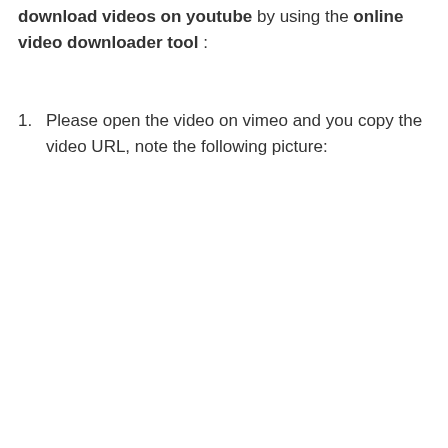download videos on youtube by using the online video downloader tool :
Please open the video on vimeo and you copy the video URL, note the following picture: